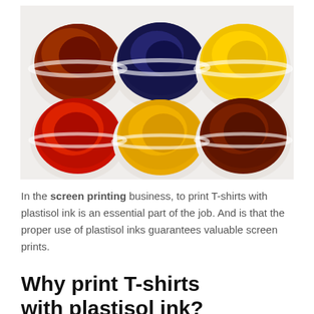[Figure (photo): Six open containers/cups of thick plastisol ink arranged in a 2x3 grid on a white background. Top row: brown/dark red, navy blue, yellow. Bottom row: bright red, golden yellow, dark brown/maroon.]
In the screen printing business, to print T-shirts with plastisol ink is an essential part of the job. And is that the proper use of plastisol inks guarantees valuable screen prints.
Why print T-shirts with plastisol ink?